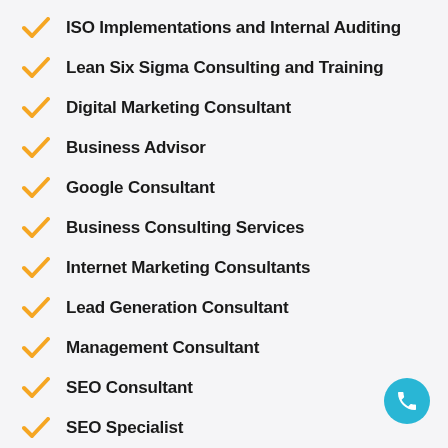ISO Implementations and Internal Auditing
Lean Six Sigma Consulting and Training
Digital Marketing Consultant
Business Advisor
Google Consultant
Business Consulting Services
Internet Marketing Consultants
Lead Generation Consultant
Management Consultant
SEO Consultant
SEO Specialist
Small Business Consultant